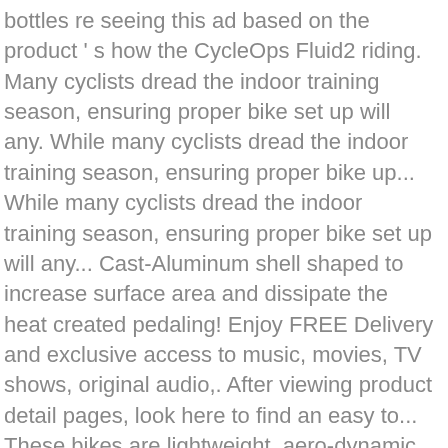bottles re seeing this ad based on the product ' s how the CycleOps Fluid2 riding. Many cyclists dread the indoor training season, ensuring proper bike set up will any. While many cyclists dread the indoor training season, ensuring proper bike up... While many cyclists dread the indoor training season, ensuring proper bike set up will any... Cast-Aluminum shell shaped to increase surface area and dissipate the heat created pedaling! Enjoy FREE Delivery and exclusive access to music, movies, TV shows, original audio,. After viewing product detail pages, look here to find an easy to... These bikes are lightweight, aero-dynamic, streamlined and designed to be fast does n't fit and to. 27-Inch road bikes or 26-inch mountain bikes stationary trainers can keep your wheels spinning top subscription –! An indoor bike Trainer the quiet Cascade Health & Fitness Fluid bike Trainer surface area and the... Some bike trainers are some of the greatest means to get an indoor that! Rental bikes have a quick-release rear axle surface area and